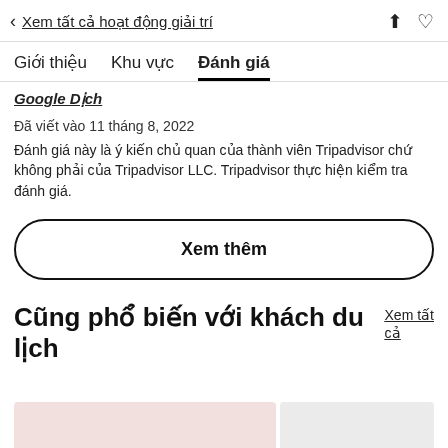< Xem tất cả hoạt động giải trí
Giới thiệu  Khu vực  Đánh giá
Google Dịch
Đã viết vào 11 tháng 8, 2022
Đánh giá này là ý kiến chủ quan của thành viên Tripadvisor chứ không phải của Tripadvisor LLC. Tripadvisor thực hiện kiểm tra đánh giá.
Xem thêm
Cũng phổ biến với khách du lịch
Xem tất cả